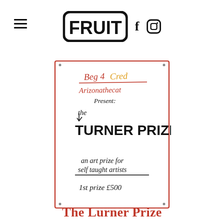FRUIT (logo with hamburger menu, Facebook and Instagram icons)
[Figure (illustration): A hand-drawn poster with a red border. Text reads: 'Beg 4 Cred' (in red and yellow handwriting with underline), 'Arizonathecat' (in red handwriting), 'Present:' (in black handwriting), 'the' (in black handwriting with arrow), 'TURNER PRIZE' (in large bold black text), 'an art prize for self taught artists' (in black handwriting with underline), '1st prize £500' (in black handwriting)]
The Lurner Prize